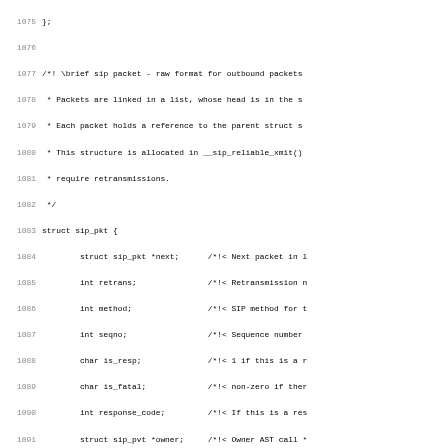Source code listing lines 1075-1107, showing C struct definitions for sip_pkt and sip_mailbox with Doxygen comments.